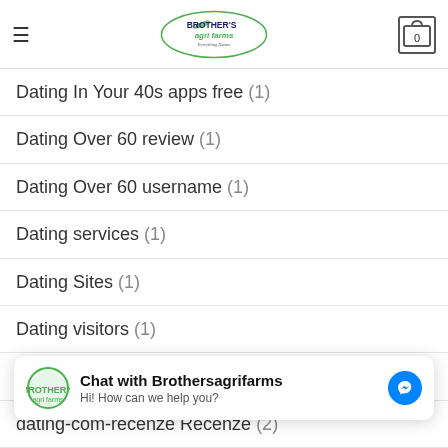Brother's Agri Farms – Everything Nature
Dating In Your 40s apps free (1)
Dating Over 60 review (1)
Dating Over 60 username (1)
Dating services (1)
Dating Sites (1)
Dating visitors (1)
dating woman (1)
dating-com-recenze Recenze (2)
de+disabled seiten (1)